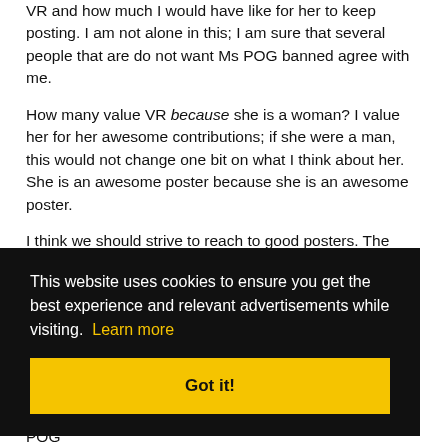VR and how much I would have like for her to keep posting. I am not alone in this; I am sure that several people that are do not want Ms POG banned agree with me.
How many value VR because she is a woman? I value her for her awesome contributions; if she were a man, this would not change one bit on what I think about her. She is an awesome poster because she is an awesome poster.
I think we should strive to reach to good posters. The gender of these good posters is meaningless to me. There is nothing wrong with diversity, but diversity for the sake of diversity has always left me uninspired.
[Figure (screenshot): Cookie consent banner overlay with black background reading: 'This website uses cookies to ensure you get the best experience and relevant advertisements while visiting. Learn more' with a yellow 'Got it!' button.]
awesome posters) would be turned off at the gate of POG